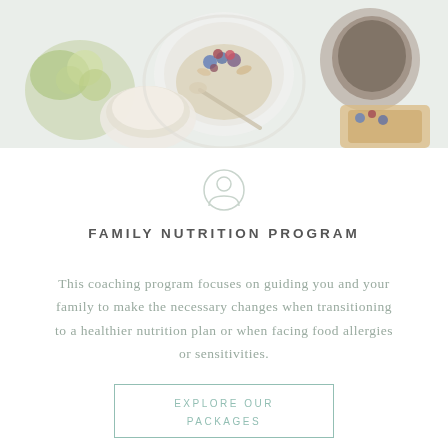[Figure (photo): Overhead flat-lay photo of healthy breakfast foods including a bowl of oatmeal with berries, a cup of coffee, flowers, and toast with berries on a light background.]
[Figure (illustration): Light gray circular person/user profile icon outline]
FAMILY NUTRITION PROGRAM
This coaching program focuses on guiding you and your family to make the necessary changes when transitioning to a healthier nutrition plan or when facing food allergies or sensitivities.
EXPLORE OUR PACKAGES